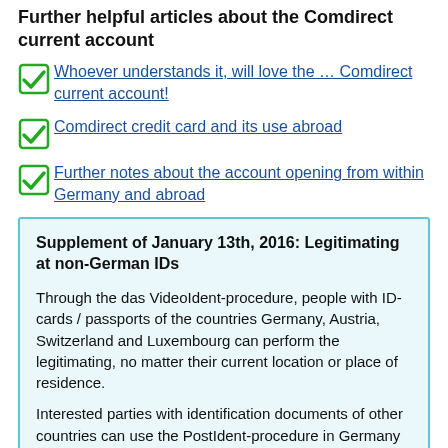Further helpful articles about the Comdirect current account
Whoever understands it, will love the … Comdirect current account!
Comdirect credit card and its use abroad
Further notes about the account opening from within Germany and abroad
Supplement of January 13th, 2016: Legitimating at non-German IDs
Through the das VideoIdent-procedure, people with ID-cards / passports of the countries Germany, Austria, Switzerland and Luxembourg can perform the legitimating, no matter their current location or place of residence.
Interested parties with identification documents of other countries can use the PostIdent-procedure in Germany and at a place of residence abroad the legitimating through a notary. However, this does not work for all countries. Please talk